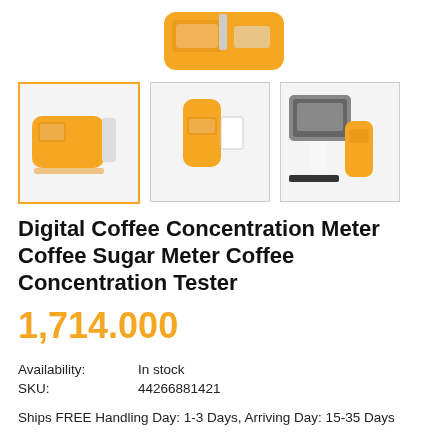[Figure (photo): Partial top view of yellow Digital Coffee Concentration Meter device against white background]
[Figure (photo): Three product thumbnail images: (1) yellow handheld coffee concentration meter with probe - selected with orange border, (2) yellow handheld meter with white card accessory, (3) meter with accessories including carrying case and calibration tools]
Digital Coffee Concentration Meter Coffee Sugar Meter Coffee Concentration Tester
1,714.000
Availability:	In stock
SKU:	44266881421
Ships FREE Handling Day: 1-3 Days, Arriving Day: 15-35 Days